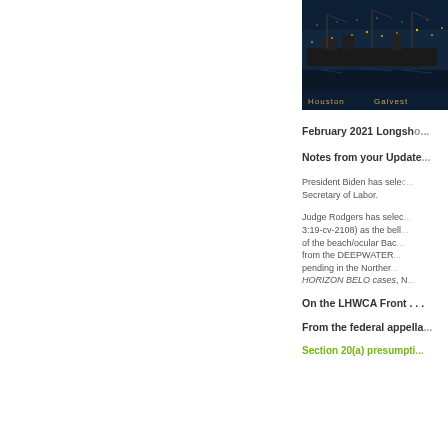[Figure (photo): Header photo of a cargo ship at port with city lights in the background at night. Text 'Houston' and 'Galveston' (partially visible) in gold/amber color at the bottom of the image.]
February 2021 Longsho...
Notes from your Update...
President Biden has sele... Secretary of Labor.
Judge Rodgers has selec... 3:19-cv-2108) as the bell... of the beach/ocular Bac... from the DEEPWATER... pending in the Norther... HORIZON BELO cases, N...
On the LHWCA Front . . .
From the federal appella...
Section 20(a) presumpti...